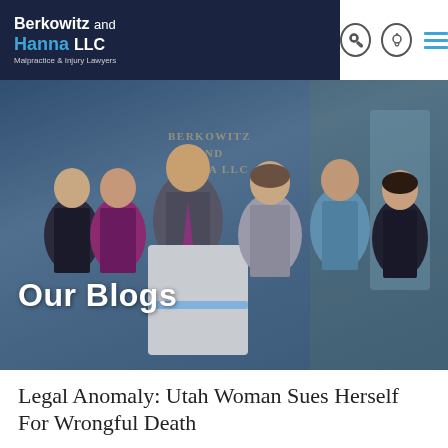Berkowitz and Hanna LLC — Malpractice & Injury Lawyers
[Figure (photo): Group photo of Berkowitz and Hanna LLC law firm staff standing in their office lobby in front of a sign reading BERKOWITZ AND HANNA LLC. Six people visible: two women on the left, a tall man in a suit with purple tie leaning on a reception desk, a woman in a grey suit in the center, a young man in the back right, and a woman in a dark outfit on the far right.]
Our Blogs
Legal Anomaly: Utah Woman Sues Herself For Wrongful Death